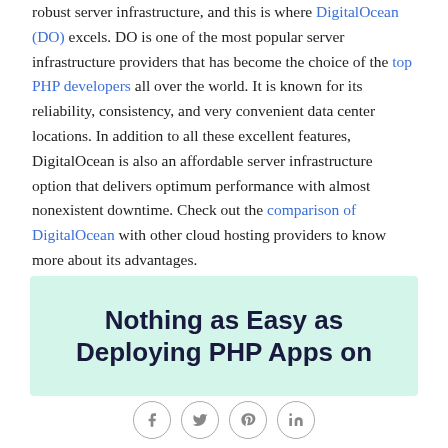robust server infrastructure, and this is where DigitalOcean (DO) excels. DO is one of the most popular server infrastructure providers that has become the choice of the top PHP developers all over the world. It is known for its reliability, consistency, and very convenient data center locations. In addition to all these excellent features, DigitalOcean is also an affordable server infrastructure option that delivers optimum performance with almost nonexistent downtime. Check out the comparison of DigitalOcean with other cloud hosting providers to know more about its advantages.
[Figure (other): Light green banner with bold dark navy text reading 'Nothing as Easy as Deploying PHP Apps on']
[Figure (other): Social sharing bar with circular icon buttons for Facebook, Twitter, Pinterest, and LinkedIn]